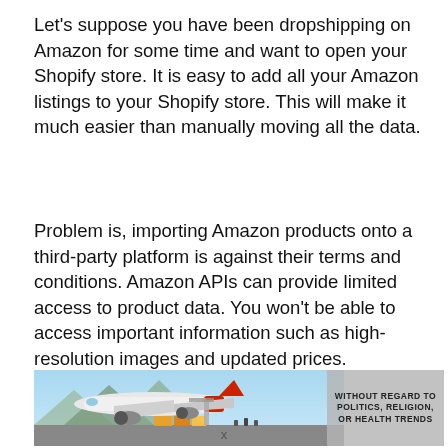Let’s suppose you have been dropshipping on Amazon for some time and want to open your Shopify store. It is easy to add all your Amazon listings to your Shopify store. This will make it much easier than manually moving all the data.
Problem is, importing Amazon products onto a third-party platform is against their terms and conditions. Amazon APIs can provide limited access to product data. You won’t be able to access important information such as high-resolution images and updated prices.
[Figure (photo): Advertisement banner showing a cargo airplane being loaded at an airport, with text overlay reading WITHOUT REGARD TO POLITICS, RELIGION, OR HEALTH TRENDS]
x